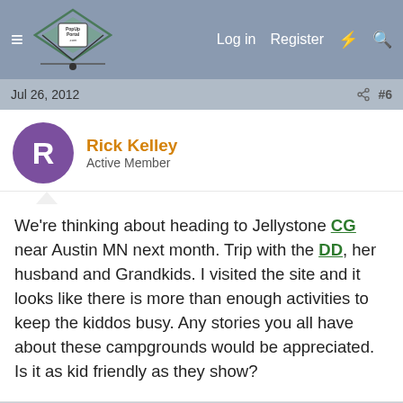PopUpPortal.com — Log in   Register
Jul 26, 2012   #6
Rick Kelley
Active Member
We're thinking about heading to Jellystone CG near Austin MN next month. Trip with the DD, her husband and Grandkids. I visited the site and it looks like there is more than enough activities to keep the kiddos busy. Any stories you all have about these campgrounds would be appreciated. Is it as kid friendly as they show?
Jul 29, 2012   #7
jeeper2007